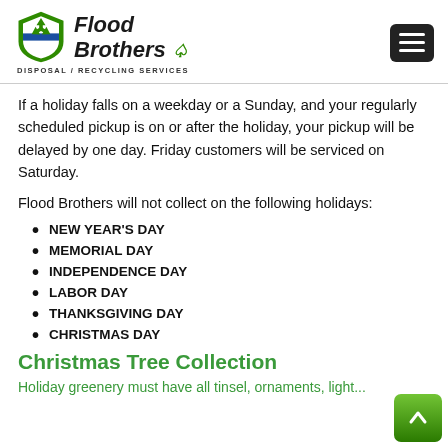[Figure (logo): Flood Brothers Disposal/Recycling Services logo with green recycling shield icon and shamrock]
If a holiday falls on a weekday or a Sunday, and your regularly scheduled pickup is on or after the holiday, your pickup will be delayed by one day. Friday customers will be serviced on Saturday.
Flood Brothers will not collect on the following holidays:
NEW YEAR'S DAY
MEMORIAL DAY
INDEPENDENCE DAY
LABOR DAY
THANKSGIVING DAY
CHRISTMAS DAY
Christmas Tree Collection
Holiday greenery must have all tinsel, ornaments, light...